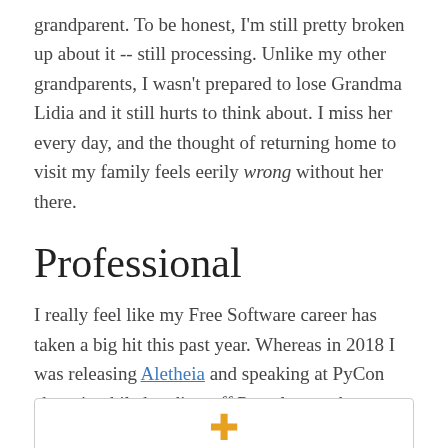grandparent. To be honest, I'm still pretty broken up about it -- still processing. Unlike my other grandparents, I wasn't prepared to lose Grandma Lidia and it still hurts to think about. I miss her every day, and the thought of returning home to visit my family feels eerily wrong without her there.
Professional
I really feel like my Free Software career has taken a big hit this past year. Whereas in 2018 I was releasing Aletheia and speaking at PyCon about it while handing-off Paperless to the broader community, 2019 has seen very little Free stuff from me. There were a couple bits worth mentioning though:
[Figure (other): A bordered box at the bottom of the page containing a gold/orange plus symbol icon, partially visible.]